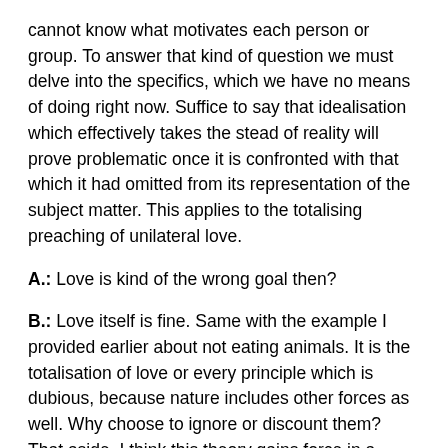cannot know what motivates each person or group. To answer that kind of question we must delve into the specifics, which we have no means of doing right now. Suffice to say that idealisation which effectively takes the stead of reality will prove problematic once it is confronted with that which it had omitted from its representation of the subject matter. This applies to the totalising preaching of unilateral love.
A.: Love is kind of the wrong goal then?
B.: Love itself is fine. Same with the example I provided earlier about not eating animals. It is the totalisation of love or every principle which is dubious, because nature includes other forces as well. Why choose to ignore or discount them? That aside, I think this theory gains force in a socio-economic milieu of privilege or relative security. It is a luxury to think that you can just turn inwardly, ignore the world around you, and through compassion alone